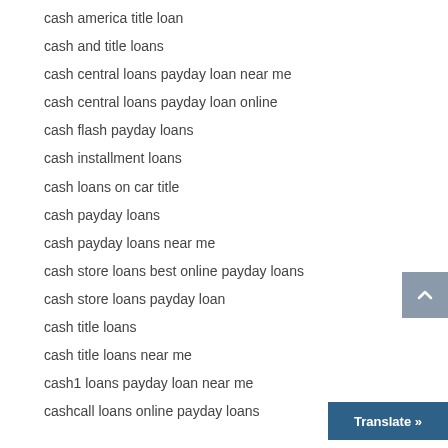cash america title loan
cash and title loans
cash central loans payday loan near me
cash central loans payday loan online
cash flash payday loans
cash installment loans
cash loans on car title
cash payday loans
cash payday loans near me
cash store loans best online payday loans
cash store loans payday loan
cash title loans
cash title loans near me
cash1 loans payday loan near me
cashcall loans online payday loans